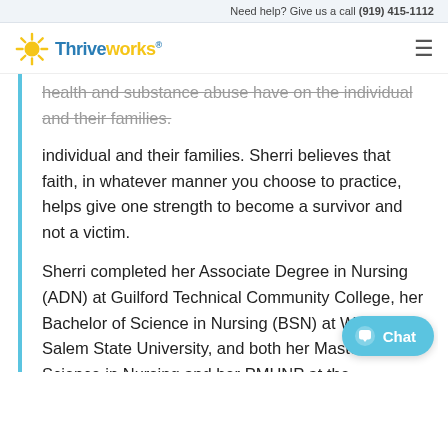Need help? Give us a call (919) 415-1112
[Figure (logo): Thriveworks logo with sun icon and blue text]
health and substance abuse have on the individual and their families. Sherri believes that faith, in whatever manner you choose to practice, helps give one strength to become a survivor and not a victim.
Sherri completed her Associate Degree in Nursing (ADN) at Guilford Technical Community College, her Bachelor of Science in Nursing (BSN) at Winston-Salem State University, and both her Master of Science in Nursing and her PMHNP at the University of So...